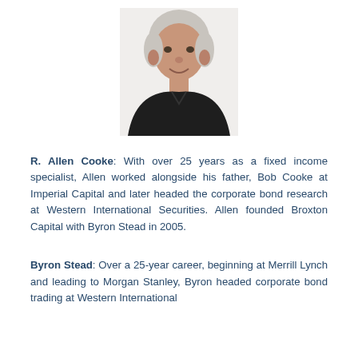[Figure (photo): Headshot photo of R. Allen Cooke, an older man with short gray/white hair, smiling, wearing a dark polo shirt, photographed against a white background.]
R. Allen Cooke: With over 25 years as a fixed income specialist, Allen worked alongside his father, Bob Cooke at Imperial Capital and later headed the corporate bond research at Western International Securities. Allen founded Broxton Capital with Byron Stead in 2005.
Byron Stead: Over a 25-year career, beginning at Merrill Lynch and leading to Morgan Stanley, Byron headed corporate bond trading at Western International